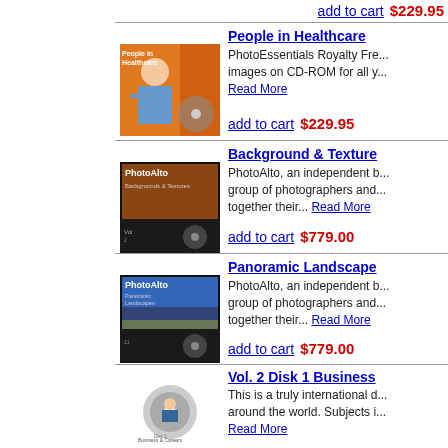add to cart  $229.95
People in Healthcare
PhotoEssentials Royalty Free images on CD-ROM for all y... Read More
add to cart  $229.95
Background & Texture
PhotoAlto, an independent b... group of photographers and... together their... Read More
add to cart  $779.00
Panoramic Landscape
PhotoAlto, an independent b... group of photographers and... together their... Read More
add to cart  $779.00
Vol. 2 Disk 1 Business
This is a truly international d... around the world. Subjects i... Read More
add to cart  $149.00
Vol. 2 Disk 2 Business
This is a truly international d... around the world. Subjects i... Read More